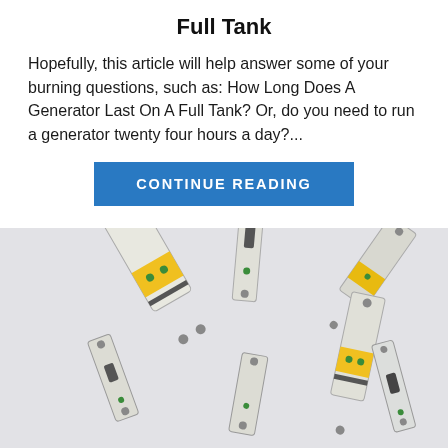Full Tank
Hopefully, this article will help answer some of your burning questions, such as: How Long Does A Generator Last On A Full Tank? Or, do you need to run a generator twenty four hours a day?...
CONTINUE READING
[Figure (photo): Multiple circuit breakers of various sizes scattered on a light gray surface, some with yellow and green accents, viewed from above at slight angles.]